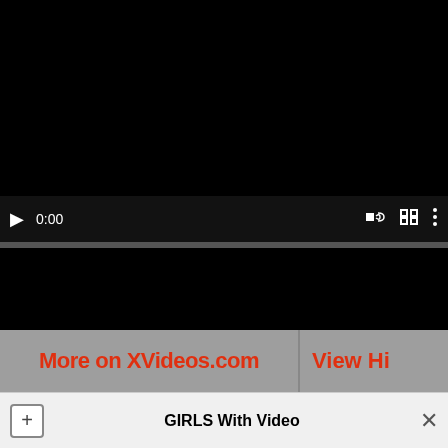[Figure (screenshot): Video player with black background, play button, time display 0:00, volume icon, fullscreen icon, options icon, and progress bar]
More on XVideos.com
View Hi
!
[Figure (photo): Advertisement banner: woman on couch with text 'Jerk off with RANDOM TEENS! GO!']
GIRLS With Video
SHOW ME